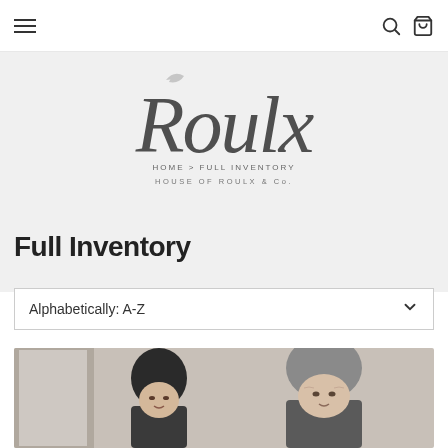Navigation bar with hamburger menu, search icon, and cart icon
[Figure (logo): House of Roulx & Co. cursive script logo with breadcrumb HOME > FULL INVENTORY and company name text]
Full Inventory
Alphabetically: A-Z
[Figure (photo): Black and white photo of two people, one with dark hair facing camera, and an older man with grey curly hair on the right]